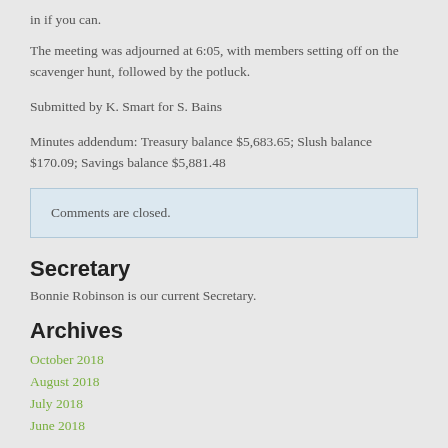in if you can.
The meeting was adjourned at 6:05, with members setting off on the scavenger hunt, followed by the potluck.
Submitted by K. Smart for S. Bains
Minutes addendum: Treasury balance $5,683.65; Slush balance $170.09; Savings balance $5,881.48
Comments are closed.
Secretary
Bonnie Robinson is our current Secretary.
Archives
October 2018
August 2018
July 2018
June 2018